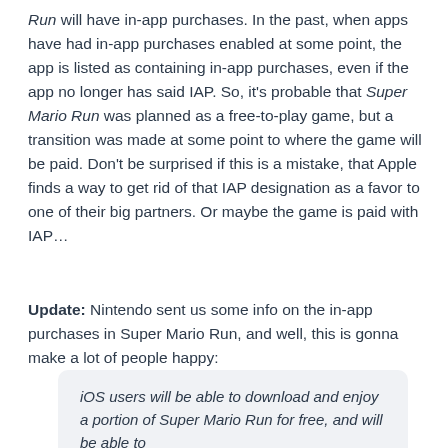Run will have in-app purchases. In the past, when apps have had in-app purchases enabled at some point, the app is listed as containing in-app purchases, even if the app no longer has said IAP. So, it's probable that Super Mario Run was planned as a free-to-play game, but a transition was made at some point to where the game will be paid. Don't be surprised if this is a mistake, that Apple finds a way to get rid of that IAP designation as a favor to one of their big partners. Or maybe the game is paid with IAP…
Update: Nintendo sent us some info on the in-app purchases in Super Mario Run, and well, this is gonna make a lot of people happy:
iOS users will be able to download and enjoy a portion of Super Mario Run for free, and will be able to...